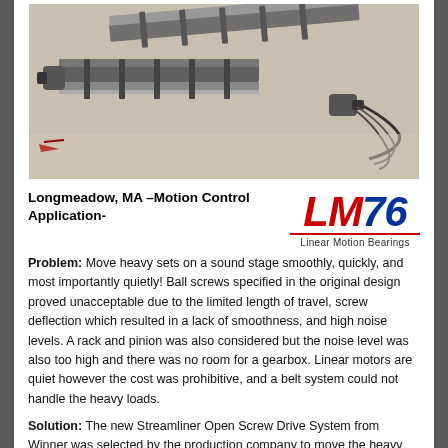[Figure (photo): Industrial linear motion track systems laid out on a floor, showing two parallel screw drive rail assemblies with motors attached at one end, cables visible on the right side.]
Longmeadow, MA –Motion Control Application-
[Figure (logo): LM76 Linear Motion Bearings logo — LM in red italic, 76 in blue italic, with red underline and subtitle 'Linear Motion Bearings']
Problem: Move heavy sets on a sound stage smoothly, quickly, and most importantly quietly! Ball screws specified in the original design proved unacceptable due to the limited length of travel, screw deflection which resulted in a lack of smoothness, and high noise levels. A rack and pinion was also considered but the noise level was also too high and there was no room for a gearbox. Linear motors are quiet however the cost was prohibitive, and a belt system could not handle the heavy loads.
Solution: The new Streamliner Open Screw Drive System from Winner was selected by the production company to move the heavy sets on the sound stage.